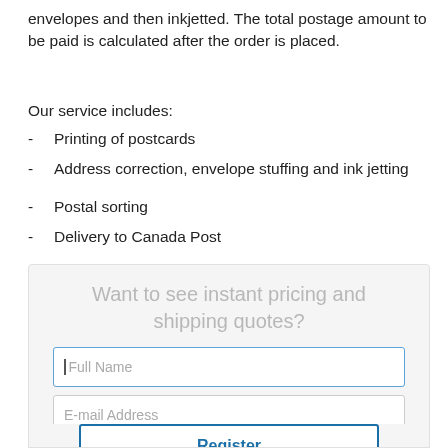envelopes and then inkjetted. The total postage amount to be paid is calculated after the order is placed.
Our service includes:
Printing of postcards
Address correction, envelope stuffing and ink jetting
Postal sorting
Delivery to Canada Post
Want to see instant pricing and shipping quotes?
[Figure (screenshot): A web form with Full Name and E-mail Address input fields and a Register button, for getting instant pricing and shipping quotes.]